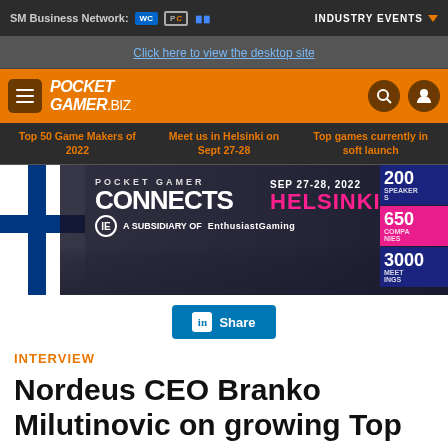SM Business Network:    INDUSTRY EVENTS
Click here to view the desktop site
[Figure (logo): PocketGamer.biz logo with hamburger menu and search/account icons on orange background]
Top 50 Game Makers of 2022 | Meet us in Helsinki on Sept 27-28 | Top games currently in soft launch
[Figure (infographic): Pocket Gamer Connects Helsinki SEP 27-28, 2022 banner. A Subsidiary of EnthusiastGaming. Shows 200 speakers, 650 companies, 3000 meetings.]
Share
INTERVIEW
Nordeus CEO Branko Milutinovic on growing Top